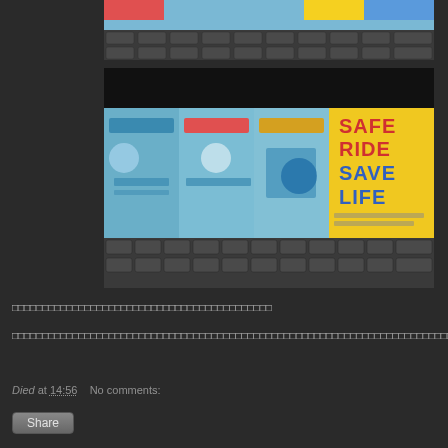[Figure (photo): Photo of brochures/pamphlets with Chinese text on a keyboard, showing safety riding materials, partial view cropped at top]
[Figure (photo): Photo of multiple Chinese language safety pamphlets/brochures spread on a keyboard with 'SAFE RIDE SAVE LIFE' text visible on yellow panel on the right side]
□□□□□□□□□□□□□□□□□□□□□□□□□□□□□□□□□□□□□□□□□
□□□□□□□□□□□□□□□□□□□□□□□□□□□□□□□□□□□□□□□□□□□□□□□□□□□□□□□□□□□□□□□□□□□□□□□□□□□□□□□□□□□□□□□□□□□□□□□□□□□□□□□□□□□
Died at 14:56    No comments:
Share